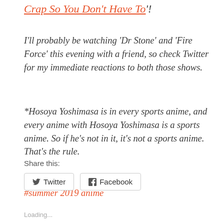Crap So You Don't Have To'!
I'll probably be watching 'Dr Stone' and 'Fire Force' this evening with a friend, so check Twitter for my immediate reactions to both those shows.
*Hosoya Yoshimasa is in every sports anime, and every anime with Hosoya Yoshimasa is a sports anime. So if he's not in it, it's not a sports anime. That's the rule.
#summer 2019 anime
Share this:
Twitter   Facebook
Loading...